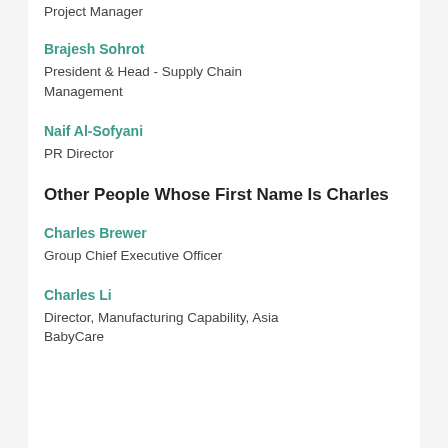Project Manager
Brajesh Sohrot
President & Head - Supply Chain Management
Naif Al-Sofyani
PR Director
Other People Whose First Name Is Charles
Charles Brewer
Group Chief Executive Officer
Charles Li
Director, Manufacturing Capability, Asia BabyCare